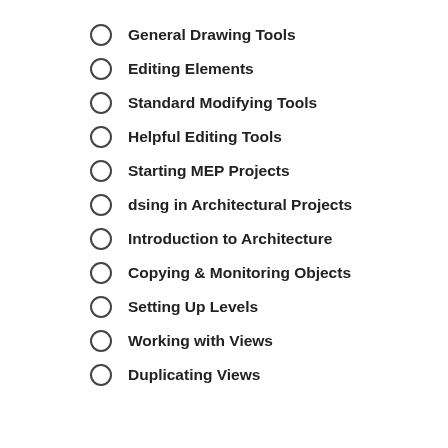General Drawing Tools
Editing Elements
Standard Modifying Tools
Helpful Editing Tools
Starting MEP Projects
dsing in Architectural Projects
Introduction to Architecture
Copying & Monitoring Objects
Setting Up Levels
Working with Views
Duplicating Views